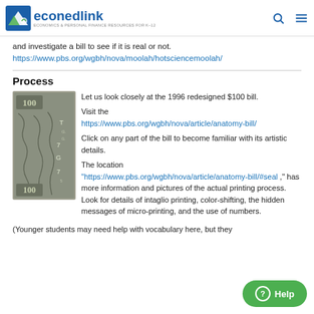econedlink — Economics & Personal Finance Resources for K-12
and investigate a bill to see if it is real or not.
https://www.pbs.org/wgbh/nova/moolah/hotsciencemoolah/
Process
[Figure (photo): Close-up photograph of the back of a $100 US bill showing the number 100, decorative engraving, and serial number details.]
Let us look closely at the 1996 redesigned $100 bill.

Visit the https://www.pbs.org/wgbh/nova/article/anatomy-bill/

Click on any part of the bill to become familiar with its artistic details.

The location "https://www.pbs.org/wgbh/nova/article/anatomy-bill/#seal ," has more information and pictures of the actual printing process. Look for details of intaglio printing, color-shifting, the hidden messages of micro-printing, and the use of numbers.

(Younger students may need help with vocabulary here, but they